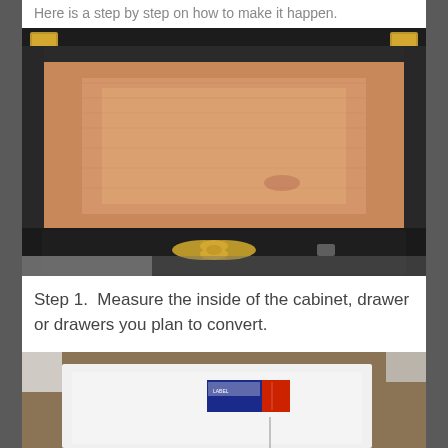Here is a step by step on how to make it happen.
[Figure (photo): Open wooden drawer with black frame and gold hardware, viewed from above, showing empty light wood interior]
Step 1.  Measure the inside of the cabinet, drawer or drawers you plan to convert.
[Figure (photo): White paper on a table/countertop with a small product label/box on top, showing measurement or planning materials]